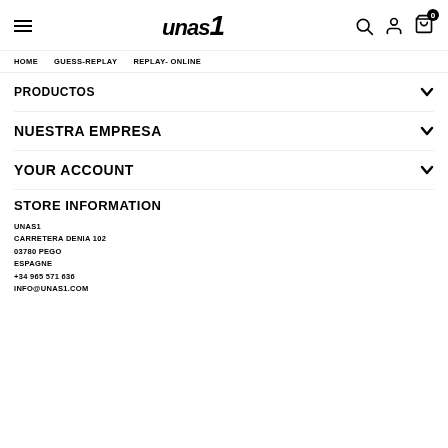unas1 — navigation header with hamburger menu, search, user, and cart icons
HOME    GUESS-REPLAY    REPLAY- ONLINE
PRODUCTOS
NUESTRA EMPRESA
YOUR ACCOUNT
STORE INFORMATION
UNAS1
CARRETERA DENIA 102
03780 PEGO
ESPAGNE
+34 965 571 636
INFO@UNAS1.COM